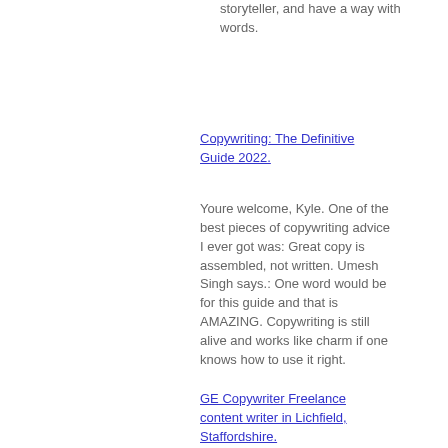storyteller, and have a way with words.
Copywriting: The Definitive Guide 2022.
Youre welcome, Kyle. One of the best pieces of copywriting advice I ever got was: Great copy is assembled, not written. Umesh Singh says.: One word would be for this guide and that is AMAZING. Copywriting is still alive and works like charm if one knows how to use it right.
GE Copywriter Freelance content writer in Lichfield, Staffordshire.
marketing
site wix référencement goo
trainer
zoekmachine